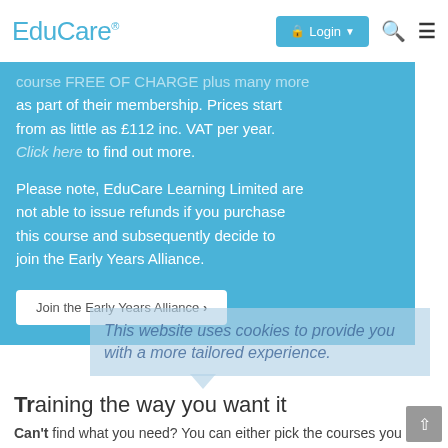EduCare® Login [search] [menu]
course FREE OF CHARGE plus many more as part of their membership. Prices start from as little as £112 inc. VAT per year. Click here to find out more.
Please note, EduCare Learning Limited are not able to issue refunds if you purchase this course and subsequently decide to join the Early Years Alliance.
Join the Early Years Alliance ›
This website uses cookies to provide you with a more tailored experience.
Training the way you want it
Can't find what you need? You can either pick the courses you need from our extensive range and create your own package, or ask us to create bespoke content just for you.